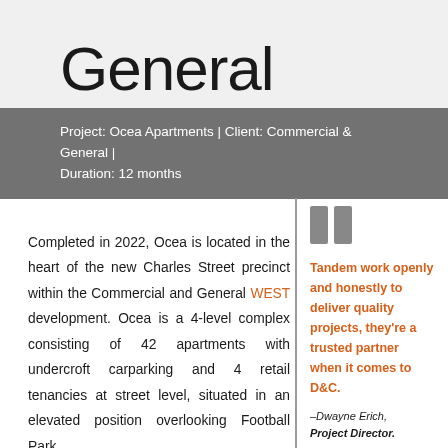General
Project: Ocea Apartments | Client: Commercial & General | Duration: 12 months
Completed in 2022, Ocea is located in the heart of the new Charles Street precinct within the Commercial and General WEST development. Ocea is a 4-level complex consisting of 42 apartments with undercroft carparking and 4 retail tenancies at street level, situated in an elevated position overlooking Football Park.
Tandem work openly and honestly to deliver quality projects, they're a trusted partner when it comes to D&C.
–Dwayne Erich, Project Director.